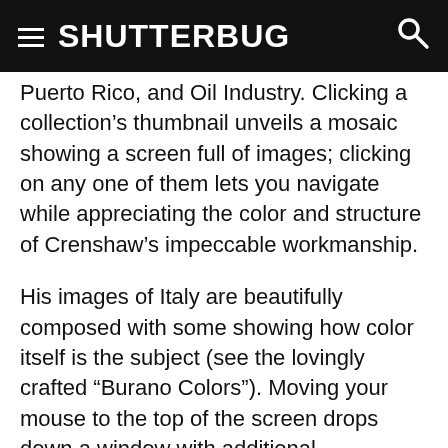SHUTTERBUG
Puerto Rico, and Oil Industry. Clicking a collection's thumbnail unveils a mosaic showing a screen full of images; clicking on any one of them lets you navigate while appreciating the color and structure of Crenshaw's impeccable workmanship.
His images of Italy are beautifully composed with some showing how color itself is the subject (see the lovingly crafted “Burano Colors”). Moving your mouse to the top of the screen drops down a window with additional information. His Black and White gallery includes two subcollections: Scenic and Nature and Travel and Architecture. In both galleries, Clark Crenshaw’s work is striking whether